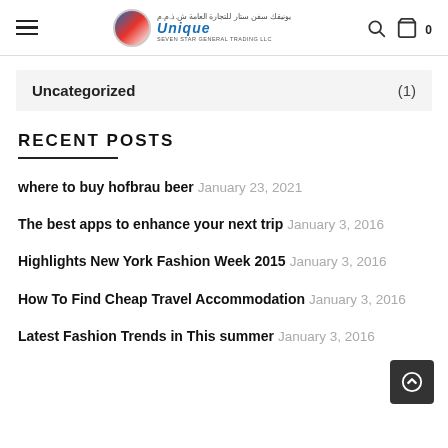Unique Seven Star General Trading LLC
Uncategorized (1)
RECENT POSTS
where to buy hofbrau beer January 23, 2021
The best apps to enhance your next trip January 3, 2016
Highlights New York Fashion Week 2015 January 3, 2016
How To Find Cheap Travel Accommodation January 3, 2016
Latest Fashion Trends in This summer January 3, 2016